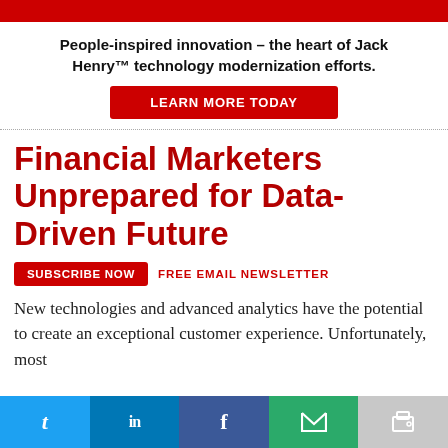People-inspired innovation – the heart of Jack Henry™ technology modernization efforts.
LEARN MORE TODAY
Financial Marketers Unprepared for Data-Driven Future
SUBSCRIBE NOW   FREE EMAIL NEWSLETTER
New technologies and advanced analytics have the potential to create an exceptional customer experience. Unfortunately, most
[Figure (infographic): Social sharing bar with Twitter, LinkedIn, Facebook, Email, and Print buttons]